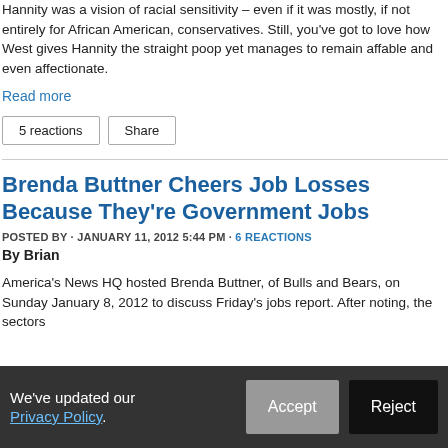Hannity was a vision of racial sensitivity – even if it was mostly, if not entirely for African American, conservatives. Still, you've got to love how West gives Hannity the straight poop yet manages to remain affable and even affectionate.
Read more
5 reactions   Share
Brenda Buttner Cheers Job Losses Because They're Government Jobs
POSTED BY · JANUARY 11, 2012 5:44 PM · 6 REACTIONS
By Brian
America's News HQ hosted Brenda Buttner, of Bulls and Bears, on Sunday January 8, 2012 to discuss Friday's jobs report. After noting, the sectors
We've updated our Privacy Policy.
Accept  Reject